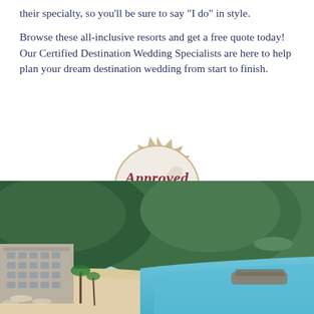their specialty, so you'll be sure to say "I do" in style.
Browse these all-inclusive resorts and get a free quote today! Our Certified Destination Wedding Specialists are here to help plan your dream destination wedding from start to finish.
[Figure (logo): Approved Partner badge/seal from DestinationWeddings.com — a circular seal with tan/beige star burst ribbon, showing a checkmark, the text 'Approved' in cursive red/maroon, 'PARTNER' in caps, and 'DestinationWeddings.com' along the bottom arc. Two horizontal lines flank the badge.]
[Figure (photo): Aerial photo of a beachside resort with multi-story buildings on the left, green mountain hills in the background, a curved sandy beach with turquoise water, and a rocky breakwater jutting into the sea.]